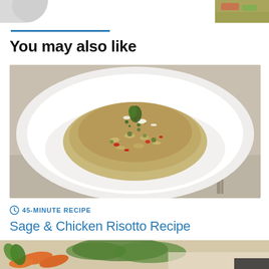[Figure (photo): Partial food photo at top left and top right corners — remnants of recipe images from above]
You may also like
[Figure (photo): A white bowl filled with vegetable and chicken risotto garnished with herbs and red pepper pieces, set on a lace cloth with a fork visible]
45-MINUTE RECIPE
Sage & Chicken Risotto Recipe
[Figure (photo): Bottom partial photo showing carrots, dill, and other vegetables on a cutting board]